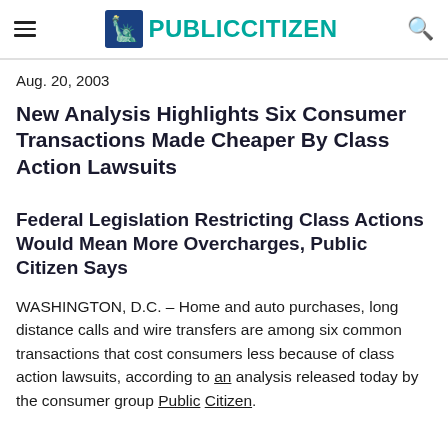PUBLIC CITIZEN
Aug. 20, 2003
New Analysis Highlights Six Consumer Transactions Made Cheaper By Class Action Lawsuits
Federal Legislation Restricting Class Actions Would Mean More Overcharges, Public Citizen Says
WASHINGTON, D.C. – Home and auto purchases, long distance calls and wire transfers are among six common transactions that cost consumers less because of class action lawsuits, according to an analysis released today by the consumer group Public Citizen.